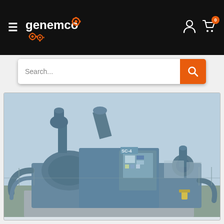genemco — hamburger menu, user icon, cart (0)
Search...
[Figure (photo): Industrial blue water-cooled chiller/compressor unit labeled SC-4, photographed outdoors on a concrete pad with chain-link fence and buildings in the background. The unit is large, blue-painted heavy industrial equipment with multiple pipes, valves, and a control panel on the front.]